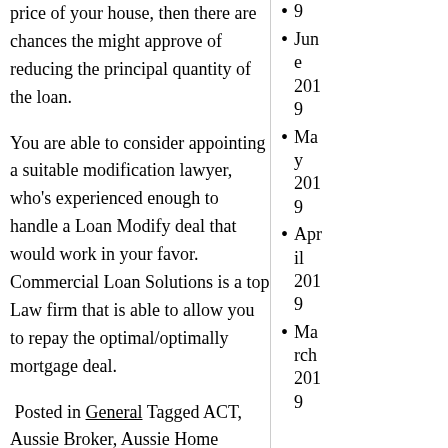price of your house, then there are chances the might approve of reducing the principal quantity of the loan.
You are able to consider appointing a suitable modification lawyer, who’s experienced enough to handle a Loan Modify deal that would work in your favor. Commercial Loan Solutions is a top Law firm that is able to allow you to repay the optimal/optimally mortgage deal.
Posted in General Tagged ACT, Aussie Broker, Aussie Home
9
June 2019
May 2019
April 2019
March 2019